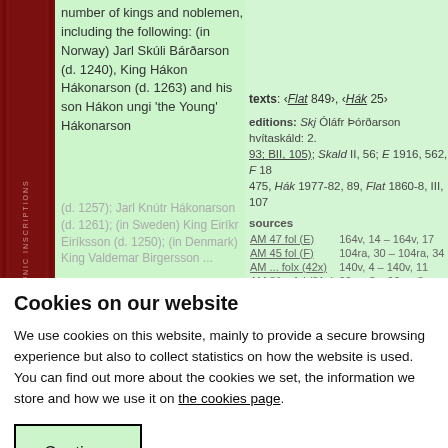number of kings and noblemen, including the following: (in Norway) Jarl Skúli Bárðarson (d. 1240), King Hákon Hákonarson (d. 1263) and his son Hákon ungi 'the Young' Hákonarson
texts: ‹Flat 849›, ‹Hák 25›
editions: Skj Óláfr Þórðarson hvítaskáld: 2. 93; BII, 105); Skald II, 56; E 1916, 562, F 18 475, Hák 1977-82, 89, Flat 1860-8, III, 107
sources
AM 47 fol (E)   164v, 14 - 164v, 17
AM 45 fol (F)   104ra, 30 - 104ra, 34
AM ... folx (42x)   140v, 4 - 140v, 11
AM 81 a fol (81a)   96va, 3 - 96va, 8
Cookies on our website
We use cookies on this website, mainly to provide a secure browsing experience but also to collect statistics on how the website is used. You can find out more about the cookies we set, the information we store and how we use it on the cookies page.
Continue